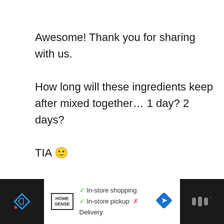Awesome! Thank you for sharing with us.

How long will these ingredients keep after mixed together… 1 day? 2 days?

TIA 🙂
Reply
200
BETTY
MARCH 5, 2021 AT 6:31 PM
[Figure (screenshot): Advertisement bar at the bottom: Home Sense logo, checkmarks for In-store shopping and In-store pickup, X for Delivery, blue diamond arrow icon, and dark side panels with icons.]